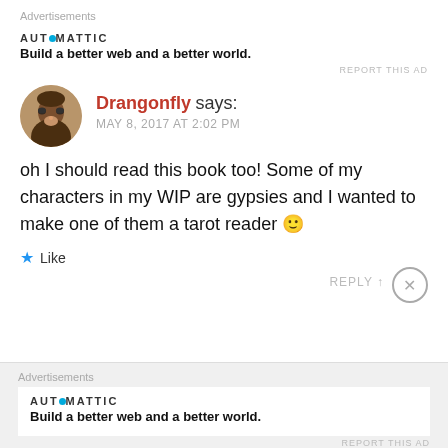Advertisements
[Figure (logo): Automattic logo with tagline: Build a better web and a better world.]
REPORT THIS AD
Drangonfly says: MAY 8, 2017 AT 2:02 PM
oh I should read this book too! Some of my characters in my WIP are gypsies and I wanted to make one of them a tarot reader 🙂
Like
REPLY
Advertisements
[Figure (logo): Automattic logo with tagline: Build a better web and a better world.]
REPORT THIS AD